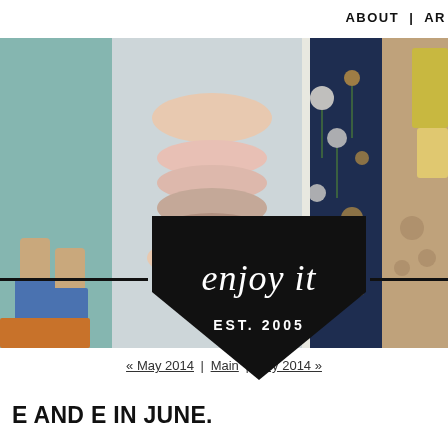ABOUT  |  AR
[Figure (photo): Blog header collage of four photos: teal wall with person's feet in sandals and blue jeans; hands holding stacked ceramic bowls; dark floral wallpaper with light switch; pink/brown textured stone surface with hand. Below photos is a black pentagon-shaped logo badge with script text 'enjoy it' and 'EST. 2005'. Horizontal black lines flank the badge.]
« May 2014 | Main | July 2014 »
E AND E IN JUNE.